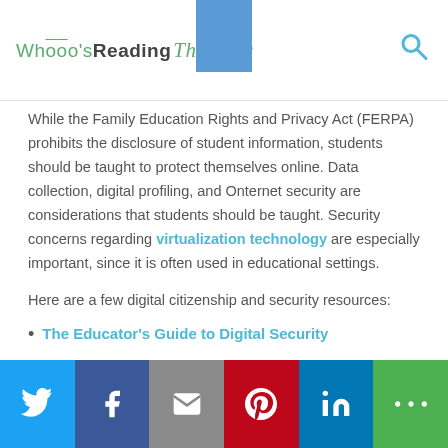Whooo's Reading The Blog
While the Family Education Rights and Privacy Act (FERPA) prohibits the disclosure of student information, students should be taught to protect themselves online. Data collection, digital profiling, and Onternet security are considerations that students should be taught. Security concerns regarding virtualization technology are especially important, since it is often used in educational settings.
Here are a few digital citizenship and security resources:
The Educator's Guide to Digital Security
Social share bar: Twitter, Facebook, Email, Pinterest, LinkedIn, More